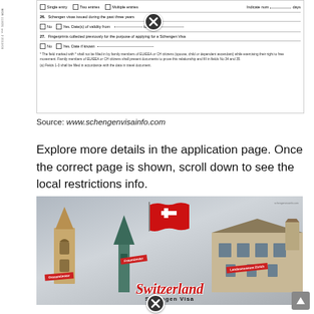[Figure (other): Cropped Schengen visa application form showing checkboxes for Single entry, Two entries, Multiple entries, Indicate number of days, Schengen visas issued during the past three years (No/Yes fields), Fingerprints collected previously for Schengen Visa (No/Yes fields), and footnote text. A close/cancel button overlay appears on the form.]
Source: www.schengenvisainfo.com
Explore more details in the application page. Once the correct page is shown, scroll down to see the local restrictions info.
[Figure (photo): Switzerland Schengen Visa promotional image showing Grossmünster church, Fraumünster spire with Swiss flag, and Landesmuseum Zürich building, with red 'Switzerland Schengen Visa' text at bottom.]